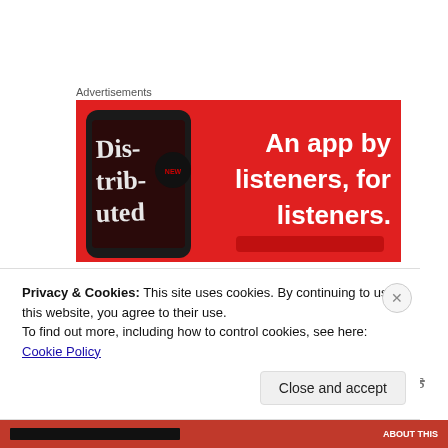Advertisements
[Figure (illustration): Red advertisement banner for a podcast/audio app with a phone showing 'Distributed' and text 'An app by listeners, for listeners.']
This book was written in a time that, looking back, seems incredibly innocent. People, Babyboomers, broke out and did things differently, vastly differently, than their parents
Privacy & Cookies: This site uses cookies. By continuing to use this website, you agree to their use.
To find out more, including how to control cookies, see here: Cookie Policy